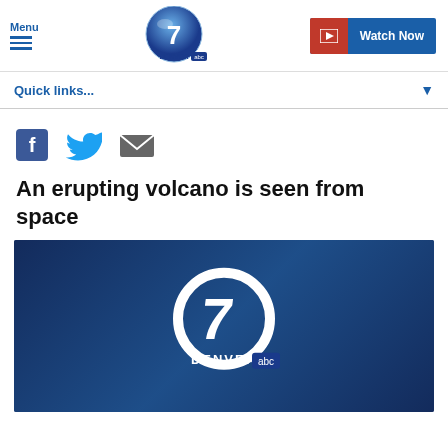Menu | Denver7 ABC | Watch Now
Quick links...
[Figure (screenshot): Social share icons: Facebook, Twitter, Email]
An erupting volcano is seen from space
[Figure (screenshot): Denver7 ABC video thumbnail with logo overlay on dark blue background]